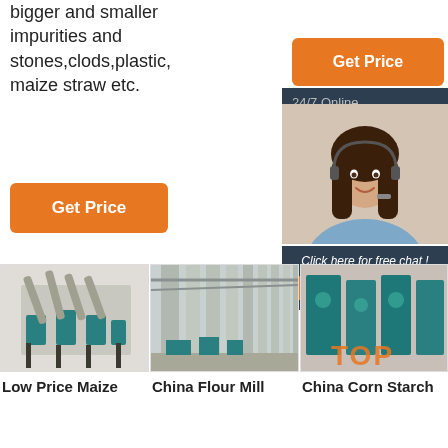bigger and smaller impurities and stones,clods,plastic, maize straw etc.
[Figure (infographic): Orange Get Price button on the right side]
[Figure (infographic): Dark blue 24/7 Online badge with woman customer service agent wearing headset, Click here for free chat text, and orange QUOTATION button]
Get Price
[Figure (photo): Low Price Maize milling machine equipment]
[Figure (photo): China Flour Mill interior with columns]
[Figure (photo): China Corn Starch processing machinery]
Low Price Maize
China Flour Mill
China Corn Starch